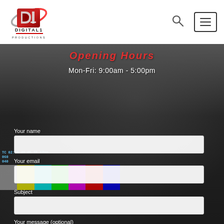[Figure (logo): Digital 1 Productions logo — red square with D1 letterform, silver orbital ellipse, text 'DIGITAL1 PRODUCTIONS' below]
[Figure (other): Search icon (magnifying glass)]
[Figure (other): Hamburger menu button — rectangle with three horizontal lines]
Opening Hours
Mon-Fri: 9:00am - 5:00pm
[Figure (photo): Dark background showing camera/video equipment close-up, with color bars strip visible at lower left]
Your name
Your email
Subject
Your message (optional)